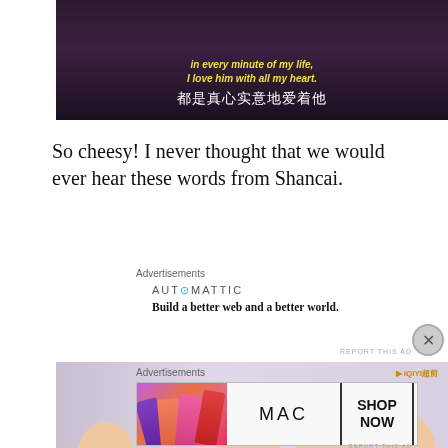[Figure (screenshot): Video screenshot with yellow English subtitle 'in every minute of my life, I love him with all my heart.' and white Chinese subtitle '都是真心实意地爱着他']
So cheesy! I never thought that we would ever hear these words from Shancai.
Advertisements
[Figure (other): Automattic advertisement: logo 'AUTOMATTIC' and tagline 'Build a better web and a better world.']
[Figure (screenshot): Video screenshot showing four young Asian men, with an iQIYI watermark in the top right corner]
Advertisements
[Figure (other): MAC cosmetics advertisement showing lipsticks and 'SHOP NOW' button]